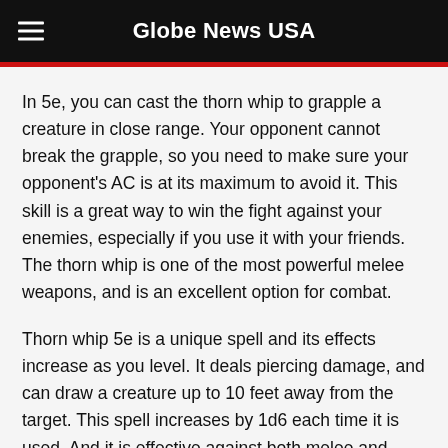Globe News USA
In 5e, you can cast the thorn whip to grapple a creature in close range. Your opponent cannot break the grapple, so you need to make sure your opponent's AC is at its maximum to avoid it. This skill is a great way to win the fight against your enemies, especially if you use it with your friends. The thorn whip is one of the most powerful melee weapons, and is an excellent option for combat.
Thorn whip 5e is a unique spell and its effects increase as you level. It deals piercing damage, and can draw a creature up to 10 feet away from the target. This spell increases by 1d6 each time it is used. And it is effective against both melee and non-human creatures, so thorn whip is worth looking into. This item will help you if you are interested in